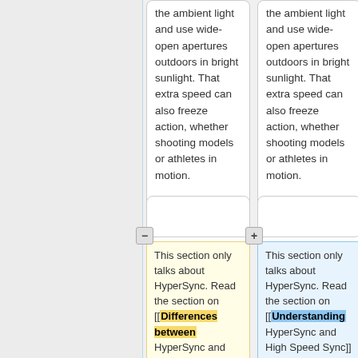the ambient light and use wide-open apertures outdoors in bright sunlight. That extra speed can also freeze action, whether shooting models or athletes in motion.
the ambient light and use wide-open apertures outdoors in bright sunlight. That extra speed can also freeze action, whether shooting models or athletes in motion.
This section only talks about HyperSync. Read the section on [[Differences between HyperSync and High Speed Sync]] to learn more.
This section only talks about HyperSync. Read the section on [[Understanding HyperSync and High Speed Sync]] to learn more.